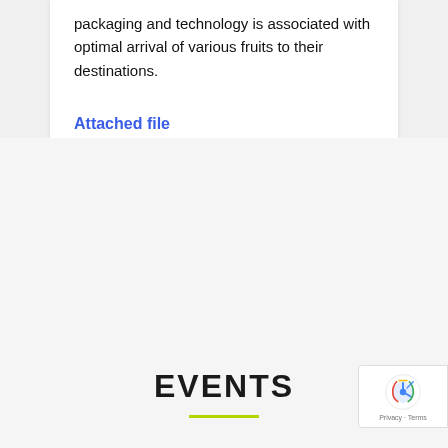packaging and technology is associated with optimal arrival of various fruits to their destinations.
Attached file
EVENTS
[Figure (logo): reCAPTCHA badge with Google logo and Privacy - Terms text]